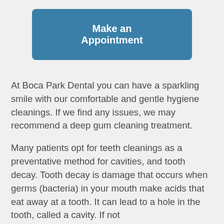[Figure (other): Blue button labeled 'Make an Appointment']
At Boca Park Dental you can have a sparkling smile with our comfortable and gentle hygiene cleanings. If we find any issues, we may recommend a deep gum cleaning treatment.
Many patients opt for teeth cleanings as a preventative method for cavities, and tooth decay.  Tooth decay is damage that occurs when germs (bacteria) in your mouth make acids that eat away at a tooth. It can lead to a hole in the tooth, called a cavity. If not